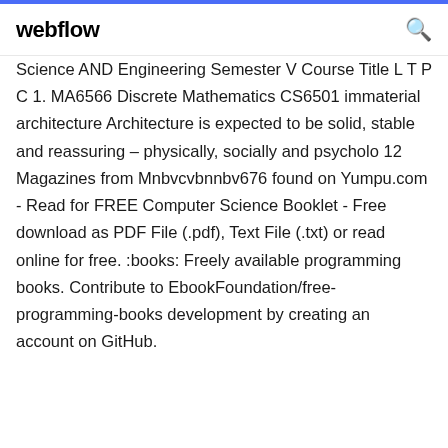webflow
Science AND Engineering Semester V Course Title L T P C 1. MA6566 Discrete Mathematics CS6501 immaterial architecture Architecture is expected to be solid, stable and reassuring – physically, socially and psycholo 12 Magazines from Mnbvcvbnnbv676 found on Yumpu.com - Read for FREE Computer Science Booklet - Free download as PDF File (.pdf), Text File (.txt) or read online for free. :books: Freely available programming books. Contribute to EbookFoundation/free-programming-books development by creating an account on GitHub.